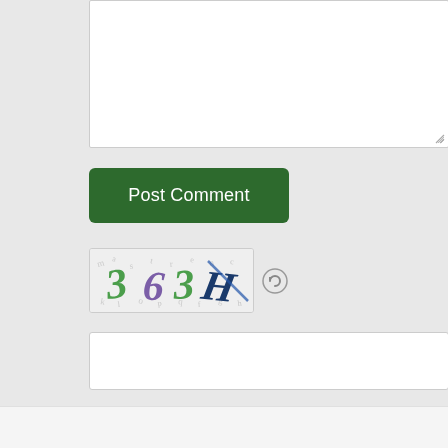[Figure (screenshot): Textarea input box for comment, partially shown at top of page]
[Figure (screenshot): Green 'Post Comment' button]
[Figure (screenshot): CAPTCHA image showing distorted characters '3 6 3 H' with a refresh icon]
[Figure (screenshot): Text input box for CAPTCHA code entry]
CAPTCHA Code
*